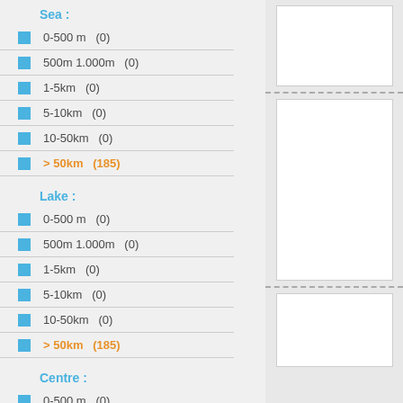Sea :
0-500 m   (0)
500m 1.000m   (0)
1-5km   (0)
5-10km   (0)
10-50km   (0)
> 50km   (185)
Lake :
0-500 m   (0)
500m 1.000m   (0)
1-5km   (0)
5-10km   (0)
10-50km   (0)
> 50km   (185)
Centre :
0-500 m   (0)